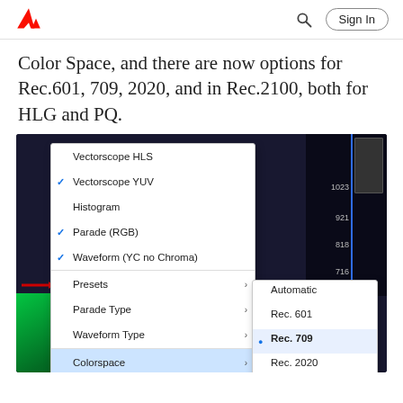Adobe logo, Search, Sign In
Color Space, and there are now options for Rec.601, 709, 2020, and in Rec.2100, both for HLG and PQ.
[Figure (screenshot): Screenshot of a video editing application showing a context menu with options: Vectorscope HLS, Vectorscope YUV (checked), Histogram, Parade (RGB) (checked), Waveform (YC no Chroma) (checked), Presets, Parade Type, Waveform Type, Colorspace (highlighted with submenu showing: Automatic, Rec. 601, Rec. 709 (selected), Rec. 2020, Rec. 2100 HLG, Rec. 2100 PQ), Brightness. A red arrow points to the Colorspace option. Scale numbers 1023, 921, 818, 716, 205 are visible on the right side.]